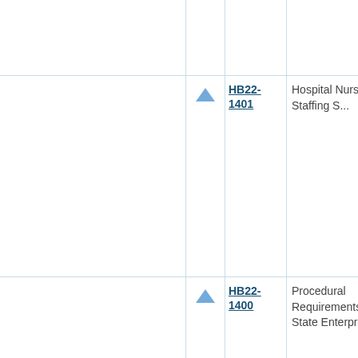|  | Icon | Bill | Description |
| --- | --- | --- | --- |
|  | ↑ | HB22-1401 | Hospital Nurse Staffing S... |
|  | ↑ | HB22-1400 | Procedural Requirements... State Enterprises |
|  | ↑ | HB22-1399 | Music Therapist Title Prot... |
|  | ↑ | HB22-1398 | Insurance Companies' Re... Agents |